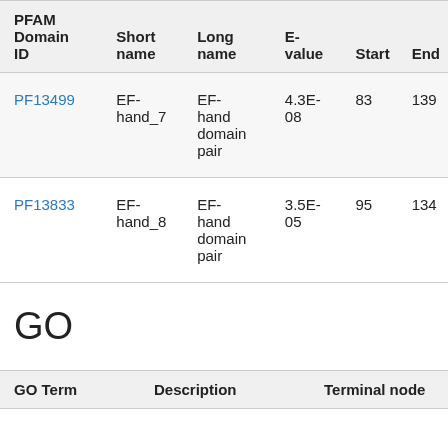| PFAM Domain ID | Short name | Long name | E-value | Start | End |
| --- | --- | --- | --- | --- | --- |
| PF13499 | EF-hand_7 | EF-hand domain pair | 4.3E-08 | 83 | 139 |
| PF13833 | EF-hand_8 | EF-hand domain pair | 3.5E-05 | 95 | 134 |
GO
| GO Term | Description | Terminal node |
| --- | --- | --- |